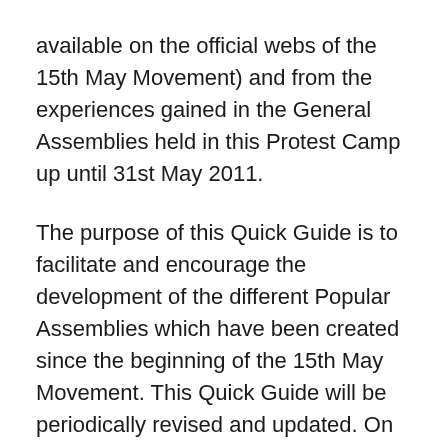available on the official webs of the 15th May Movement) and from the experiences gained in the General Assemblies held in this Protest Camp up until 31st May 2011.
The purpose of this Quick Guide is to facilitate and encourage the development of the different Popular Assemblies which have been created since the beginning of the 15th May Movement. This Quick Guide will be periodically revised and updated. On no account is it to be considered a closed model which cannot be adapted through consensus by any given Assembly. From the Commission for Group Dynamics in Assemblies of the Puerta del Sol Protest Camp we invite our friends and comrades to attend and take part in the meetings, work plans and internal Assemblies of this Commission, which are open to anyone who wants to come to them and